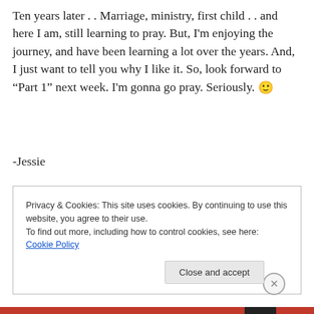Ten years later . .  Marriage, ministry, first child . . and here I am, still learning to pray.  But, I'm enjoying the journey, and have been learning a lot over the years.  And, I just want to tell you why I like it.  So, look forward to “Part 1” next week.  I'm gonna go pray.  Seriously. 🙂
-Jessie
Privacy & Cookies: This site uses cookies. By continuing to use this website, you agree to their use.
To find out more, including how to control cookies, see here: Cookie Policy
Close and accept